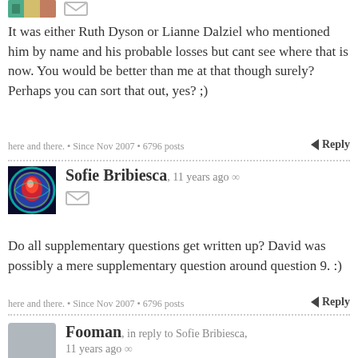It was either Ruth Dyson or Lianne Dalziel who mentioned him by name and his probable losses but cant see where that is now. You would be better than me at that though surely? Perhaps you can sort that out, yes? ;)
here and there. • Since Nov 2007 • 6796 posts
Reply
Sofie Bribiesca, 11 years ago ∞
Do all supplementary questions get written up? David was possibly a mere supplementary question around question 9. :)
here and there. • Since Nov 2007 • 6796 posts
Reply
Fooman, in reply to Sofie Bribiesca, 11 years ago ∞